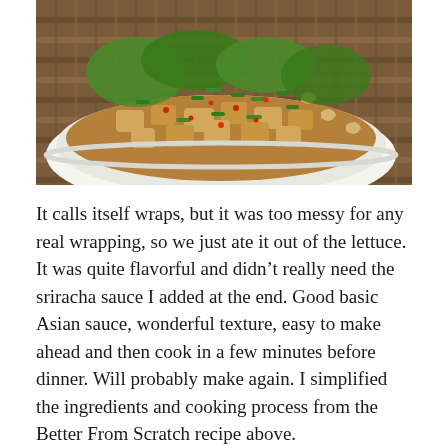[Figure (photo): A white bowl filled with stir-fried chicken pieces topped with sliced green onions, red chili flakes, cashews, and lettuce. The bowl sits on a wooden mat/surface.]
It calls itself wraps, but it was too messy for any real wrapping, so we just ate it out of the lettuce. It was quite flavorful and didn't really need the sriracha sauce I added at the end. Good basic Asian sauce, wonderful texture, easy to make ahead and then cook in a few minutes before dinner. Will probably make again. I simplified the ingredients and cooking process from the Better From Scratch recipe above.